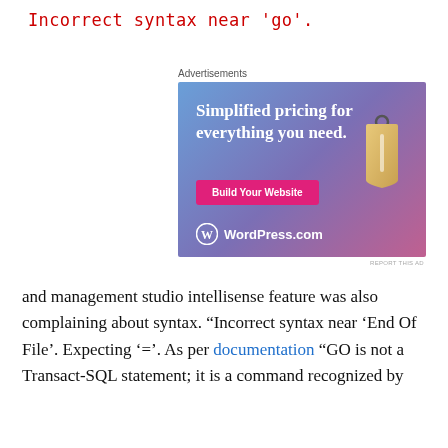Incorrect syntax near 'go'.
[Figure (illustration): WordPress.com advertisement banner with gradient blue-purple-pink background, text 'Simplified pricing for everything you need.', a pink 'Build Your Website' button, a price tag graphic, and the WordPress.com logo at the bottom.]
REPORT THIS AD
and management studio intellisense feature was also complaining about syntax. “Incorrect syntax near ‘End Of File’. Expecting ‘=’. As per documentation “GO is not a Transact-SQL statement; it is a command recognized by